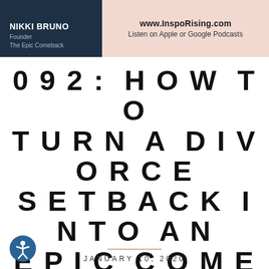NIKKI BRUNO
Founder
The Epic Comeback
www.InspoRising.com
Listen on Apple or Google Podcasts
092: HOW TO TURN A DIVORCE SETBACK INTO AN EPIC COMEBACK – NIKKI BRUNO
[Figure (illustration): Accessibility icon: a circular blue badge with a white person figure with arms extended]
JANUARY 10, 2020